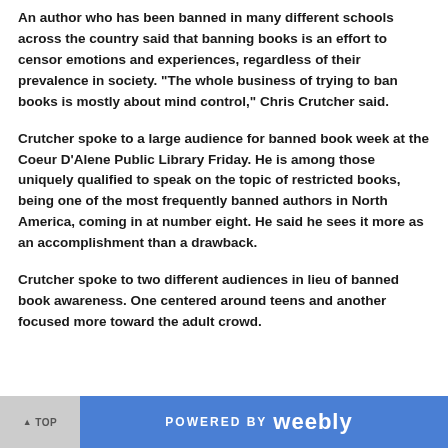An author who has been banned in many different schools across the country said that banning books is an effort to censor emotions and experiences, regardless of their prevalence in society. "The whole business of trying to ban books is mostly about mind control," Chris Crutcher said.
Crutcher spoke to a large audience for banned book week at the Coeur D'Alene Public Library Friday. He is among those uniquely qualified to speak on the topic of restricted books, being one of the most frequently banned authors in North America, coming in at number eight. He said he sees it more as an accomplishment than a drawback.
Crutcher spoke to two different audiences in lieu of banned book awareness. One centered around teens and another focused more toward the adult crowd.
TOP  POWERED BY weebly